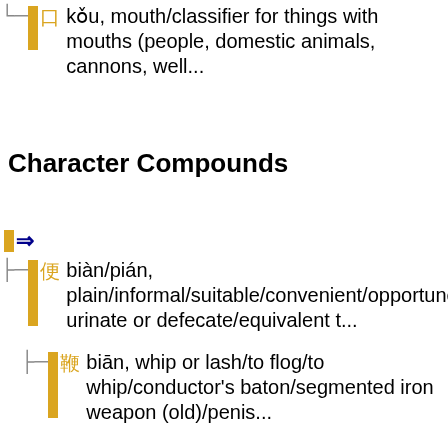口 kǒu, mouth/classifier for things with mouths (people, domestic animals, cannons, well...
Character Compounds
⇒
便 biàn/pián, plain/informal/suitable/convenient/opportune/to urinate or defecate/equivalent t...
鞭 biān, whip or lash/to flog/to whip/conductor's baton/segmented iron weapon (old)/penis...
辫 biàn, [辮], braid
硬 yìng, hard/stiff/strong/firm/resolutely/doggedly/good (quality)/able (person)
梗 gěng, branch/stem/stalk/CL:根[gēn]/to